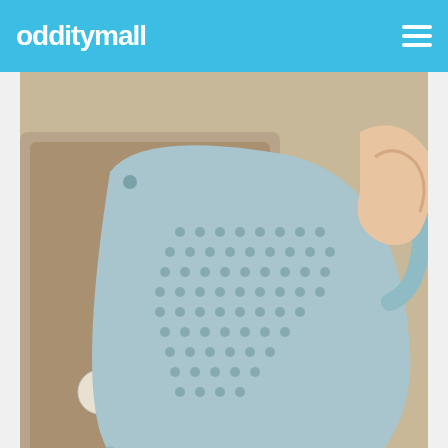odditymall
[Figure (photo): A light blue perforated plastic sink strainer/colander being held by a hand over a kitchen sink, with food scraps visible in the sink drain below.]
1
WHAT'S NEXT → Tweak Strainer
Experience Dyson Technology Dyson Demo Store